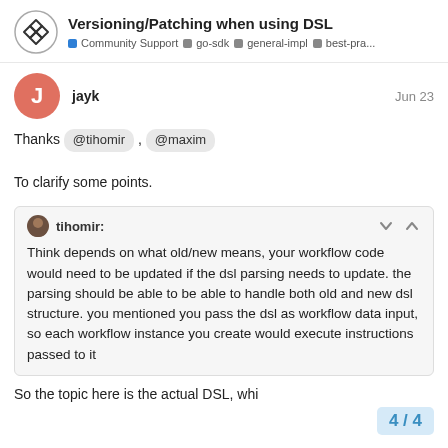Versioning/Patching when using DSL — Community Support · go-sdk · general-impl · best-pra...
jayk — Jun 23
Thanks @tihomir , @maxim

To clarify some points.
tihomir: Think depends on what old/new means, your workflow code would need to be updated if the dsl parsing needs to update. the parsing should be able to be able to handle both old and new dsl structure. you mentioned you pass the dsl as workflow data input, so each workflow instance you create would execute instructions passed to it
So the topic here is the actual DSL, whi